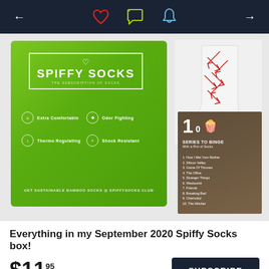Navigation bar with back arrow, heart icon, chat icon, bell icon, forward arrow
[Figure (photo): Product flatlay showing: green Spiffy Socks branded package with features listed (Extra Comfortable, Odor Fighting, Thermo Regulating, Shock Resistant) and URL GET SUSTAINABLE BAMBOO SOCKS @ SPIFFYSOCKS.CLUB; white sock with red arrow pattern; card listing 10 Series to Binge with a Pint of Socks]
Everything in my September 2020 Spiffy Socks box!
$11.95 per month
SUBSCRIBE